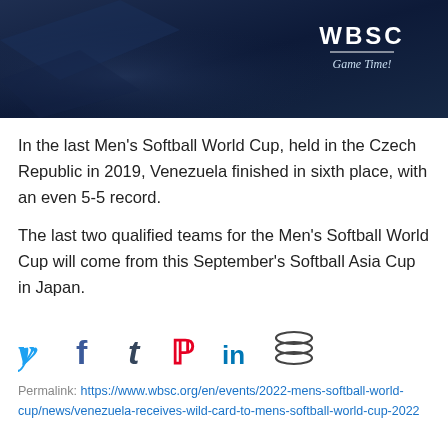[Figure (photo): Dark navy blue banner image with WBSC logo (World Baseball Softball Confederation) in top right corner, showing 'WBSC' text with 'Game Time!' tagline in italic script]
In the last Men's Softball World Cup, held in the Czech Republic in 2019, Venezuela finished in sixth place, with an even 5-5 record.
The last two qualified teams for the Men's Softball World Cup will come from this September's Softball Asia Cup in Japan.
[Figure (infographic): Social media share icons row: Twitter (blue bird/y), Facebook (f), Tumblr (t), Pinterest (P), LinkedIn (in), Buffer (stacked layers icon)]
Permalink: https://www.wbsc.org/en/events/2022-mens-softball-world-cup/news/venezuela-receives-wild-card-to-mens-softball-world-cup-2022